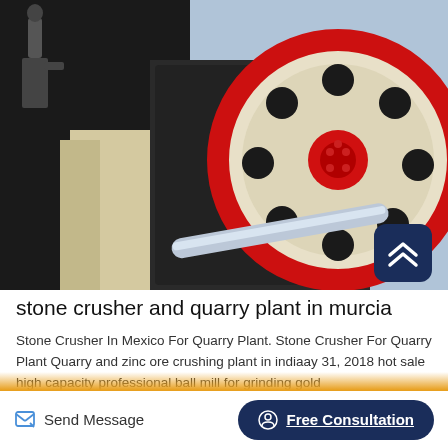[Figure (photo): Industrial stone crusher machinery showing a large flywheel with red rim and circular holes, metal housing, and a steel pipe, with a person silhouette visible in the background]
stone crusher and quarry plant in murcia
Stone Crusher In Mexico For Quarry Plant. Stone Crusher For Quarry Plant Quarry and zinc ore crushing plant in indiaay 31, 2018 hot sale high capacity professional ball mill for grinding gold